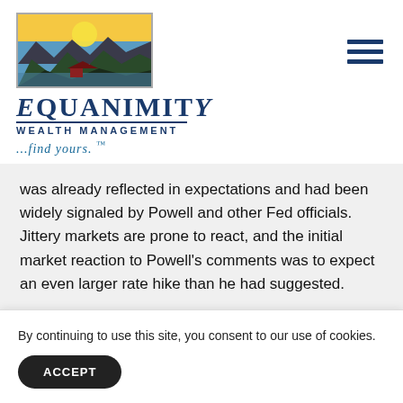[Figure (logo): Equanimity Wealth Management logo with mountain landscape illustration above the brand name]
was already reflected in expectations and had been widely signaled by Powell and other Fed officials. Jittery markets are prone to react, and the initial market reaction to Powell's comments was to expect an even larger rate hike than he had suggested.
By continuing to use this site, you consent to our use of cookies.
ACCEPT